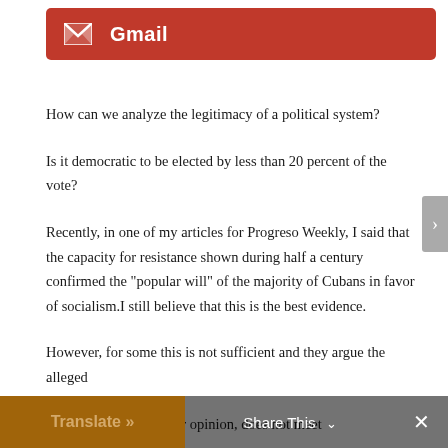[Figure (logo): Gmail button with envelope icon and white text 'Gmail' on red background]
How can we analyze the legitimacy of a political system?
Is it democratic to be elected by less than 20 percent of the vote?
Recently, in one of my articles for Progreso Weekly, I said that the capacity for resistance shown during half a century confirmed the "popular will" of the majority of Cubans in favor of socialism.I still believe that this is the best evidence.
However, for some this is not sufficient and they argue the alleged
of a regime that, in their opinion, does not meet
Translate »   Share This ∨   ×